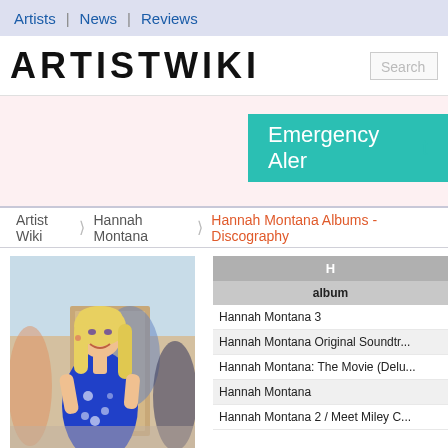Artists | News | Reviews
ARTISTWIKI
[Figure (screenshot): Teal/cyan Emergency Alert banner partially visible on right side]
Artist Wiki > Hannah Montana > Hannah Montana Albums - Discography
[Figure (photo): Blonde woman in blue floral dress smiling, outdoor setting]
| H (truncated) | album |
| --- | --- |
| Hannah Montana 3 |
| Hannah Montana Original Soundtr... |
| Hannah Montana: The Movie (Delu... |
| Hannah Montana |
| Hannah Montana 2 / Meet Miley C... |